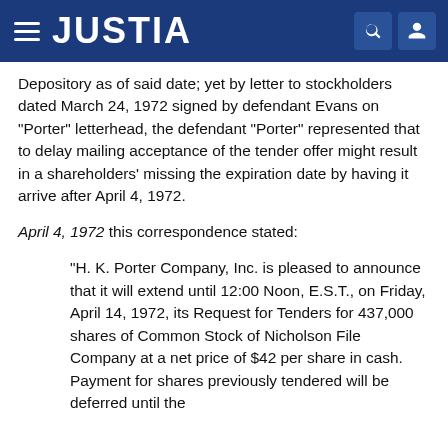JUSTIA
Depository as of said date; yet by letter to stockholders dated March 24, 1972 signed by defendant Evans on "Porter" letterhead, the defendant "Porter" represented that to delay mailing acceptance of the tender offer might result in a shareholders' missing the expiration date by having it arrive after April 4, 1972.
April 4, 1972 this correspondence stated:
"H. K. Porter Company, Inc. is pleased to announce that it will extend until 12:00 Noon, E.S.T., on Friday, April 14, 1972, its Request for Tenders for 437,000 shares of Common Stock of Nicholson File Company at a net price of $42 per share in cash. Payment for shares previously tendered will be deferred until the